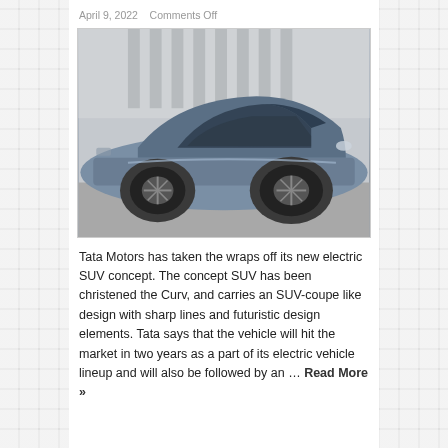April 9, 2022   Comments Off
[Figure (photo): Side profile of the Tata Curv electric SUV concept car in metallic blue-grey, parked in front of a modern building with vertical columns]
Tata Motors has taken the wraps off its new electric SUV concept. The concept SUV has been christened the Curv, and carries an SUV-coupe like design with sharp lines and futuristic design elements. Tata says that the vehicle will hit the market in two years as a part of its electric vehicle lineup and will also be followed by an … Read More »